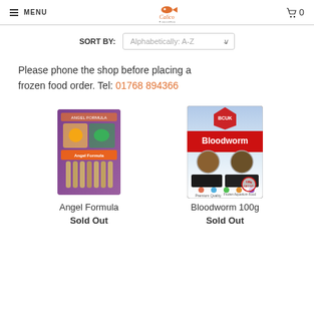MENU | Calico Aquatics | 0 (cart)
SORT BY: Alphabetically: A-Z
Please phone the shop before placing a frozen food order. Tel: 01768 894366
[Figure (photo): Product image: Angel Formula aquarium fish food package, purple box with food sticks]
Angel Formula
Sold Out
[Figure (photo): Product image: Bloodworm 100g frozen aquarium food package, blue and red packaging]
Bloodworm 100g
Sold Out